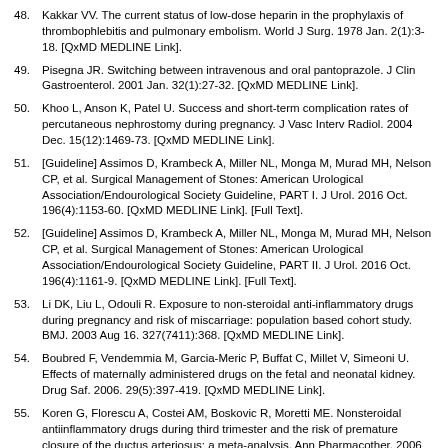48. Kakkar VV. The current status of low-dose heparin in the prophylaxis of thrombophlebitis and pulmonary embolism. World J Surg. 1978 Jan. 2(1):3-18. [QxMD MEDLINE Link].
49. Pisegna JR. Switching between intravenous and oral pantoprazole. J Clin Gastroenterol. 2001 Jan. 32(1):27-32. [QxMD MEDLINE Link].
50. Khoo L, Anson K, Patel U. Success and short-term complication rates of percutaneous nephrostomy during pregnancy. J Vasc Interv Radiol. 2004 Dec. 15(12):1469-73. [QxMD MEDLINE Link].
51. [Guideline] Assimos D, Krambeck A, Miller NL, Monga M, Murad MH, Nelson CP, et al. Surgical Management of Stones: American Urological Association/Endourological Society Guideline, PART I. J Urol. 2016 Oct. 196(4):1153-60. [QxMD MEDLINE Link]. [Full Text].
52. [Guideline] Assimos D, Krambeck A, Miller NL, Monga M, Murad MH, Nelson CP, et al. Surgical Management of Stones: American Urological Association/Endourological Society Guideline, PART II. J Urol. 2016 Oct. 196(4):1161-9. [QxMD MEDLINE Link]. [Full Text].
53. Li DK, Liu L, Odouli R. Exposure to non-steroidal anti-inflammatory drugs during pregnancy and risk of miscarriage: population based cohort study. BMJ. 2003 Aug 16. 327(7411):368. [QxMD MEDLINE Link].
54. Boubred F, Vendemmia M, Garcia-Meric P, Buffat C, Millet V, Simeoni U. Effects of maternally administered drugs on the fetal and neonatal kidney. Drug Saf. 2006. 29(5):397-419. [QxMD MEDLINE Link].
55. Koren G, Florescu A, Costei AM, Boskovic R, Moretti ME. Nonsteroidal antiinflammatory drugs during third trimester and the risk of premature closure of the ductus arteriosus: a meta-analysis. Ann Pharmacother. 2006